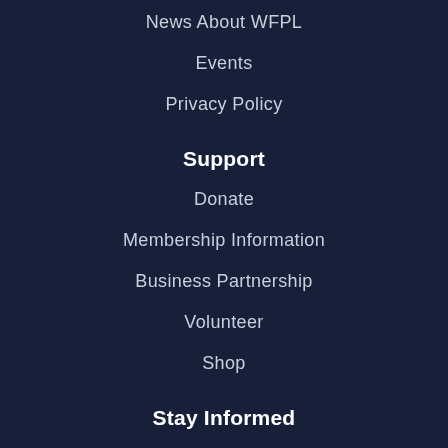News About WFPL
Events
Privacy Policy
Support
Donate
Membership Information
Business Partnership
Volunteer
Shop
Stay Informed
Schedule
Facebook